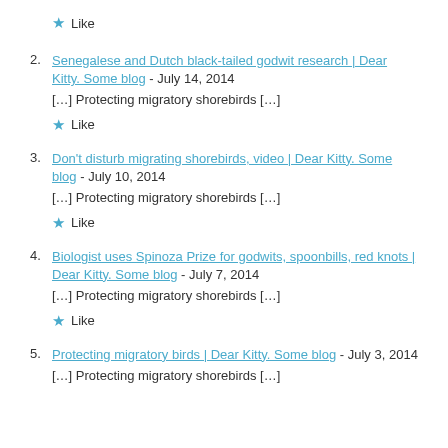Like (star)
2. Senegalese and Dutch black-tailed godwit research | Dear Kitty. Some blog - July 14, 2014
[…] Protecting migratory shorebirds […]
Like
3. Don't disturb migrating shorebirds, video | Dear Kitty. Some blog - July 10, 2014
[…] Protecting migratory shorebirds […]
Like
4. Biologist uses Spinoza Prize for godwits, spoonbills, red knots | Dear Kitty. Some blog - July 7, 2014
[…] Protecting migratory shorebirds […]
Like
5. Protecting migratory birds | Dear Kitty. Some blog - July 3, 2014
[…] Protecting migratory shorebirds […]